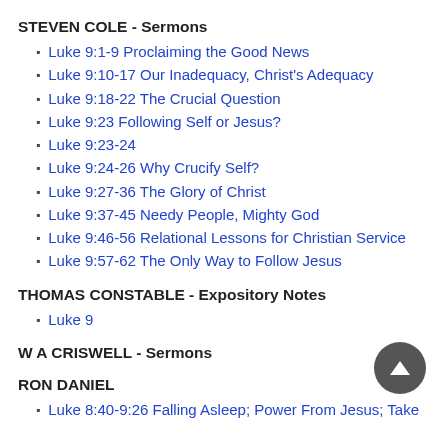STEVEN COLE - Sermons
Luke 9:1-9 Proclaiming the Good News
Luke 9:10-17 Our Inadequacy, Christ's Adequacy
Luke 9:18-22 The Crucial Question
Luke 9:23 Following Self or Jesus?
Luke 9:23-24
Luke 9:24-26 Why Crucify Self?
Luke 9:27-36 The Glory of Christ
Luke 9:37-45 Needy People, Mighty God
Luke 9:46-56 Relational Lessons for Christian Service
Luke 9:57-62 The Only Way to Follow Jesus
THOMAS CONSTABLE - Expository Notes
Luke 9
W A CRISWELL - Sermons
RON DANIEL
Luke 8:40-9:26 Falling Asleep; Power From Jesus; Take